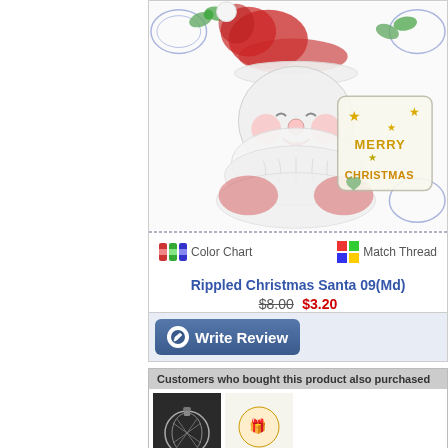[Figure (illustration): Embroidery design of Santa Claus holding a 'Merry Christmas' sign, rendered in light rippled thread style with pastels and gold stars]
Color Chart
Match Thread
Rippled Christmas Santa 09(Md)
$8.00 $3.20
Add to Wishlist
ADD TO CART
Write Review
Customers who bought this product also purchased
[Figure (photo): Thumbnail of a Christmas ornament on dark background]
[Figure (photo): Thumbnail of a colorful item on light background]